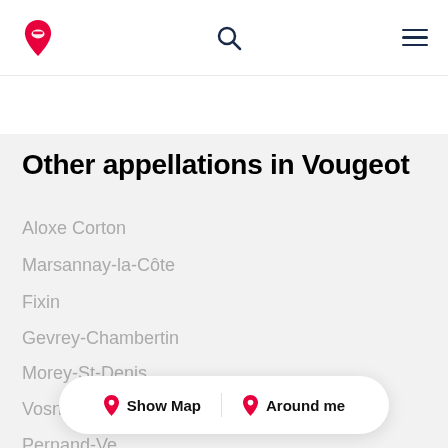Navigation header with logo, search, and menu icons
Other appellations in Vougeot
Aloxe Corton
Marsannay-la-Côte
Fixin
Gevrey-Chambertin
Morey-St-Denis
Vosne-Rom…
Pernand-Ve…
Ladoix-Serrigny
Show Map   Around me